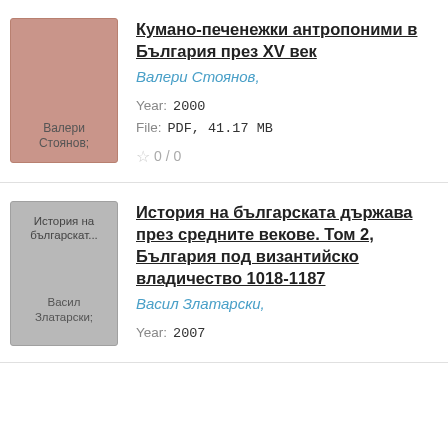[Figure (illustration): Book cover thumbnail with pink/mauve background, text 'Валери Стоянов;']
Кумано-печенежки антропоними в България през XV век
Валери Стоянов,
Year: 2000
File: PDF, 41.17 MB
☆ 0 / 0
[Figure (illustration): Book cover thumbnail with gray background, text 'История на българскат...' and 'Васил Златарски;']
История на българската държава през средните векове. Том 2, България под византийско владичество 1018-1187
Васил Златарски,
Year: 2007